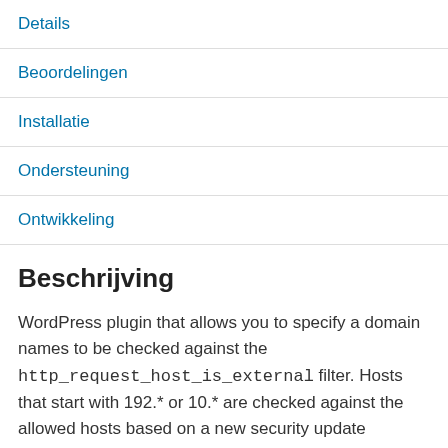Details
Beoordelingen
Installatie
Ondersteuning
Ontwikkeling
Beschrijving
WordPress plugin that allows you to specify a domain names to be checked against the http_request_host_is_external filter. Hosts that start with 192.* or 10.* are checked against the allowed hosts based on a new security update WordPress introduced in 3.5.2 (https://github.com/WordPress/WordPress/commit/1